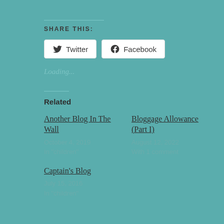SHARE THIS:
Twitter  Facebook
Loading...
Related
Another Blog In The Wall
October 4, 2019
In "children"
Bloggage Allowance (Part I)
August 12, 2022
With 1 comment
Captain's Blog
July 15, 2016
In "children"